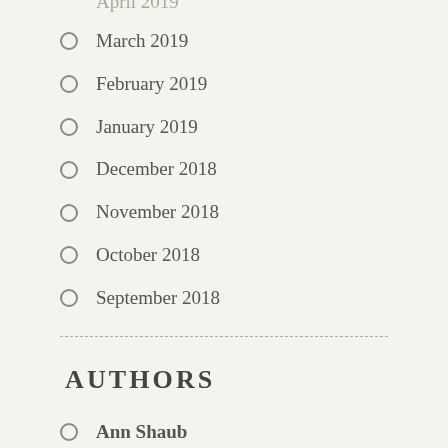April 2019
March 2019
February 2019
January 2019
December 2018
November 2018
October 2018
September 2018
Authors
Ann Shaub
WHAT I'M LOVING WEDNESDAYS: